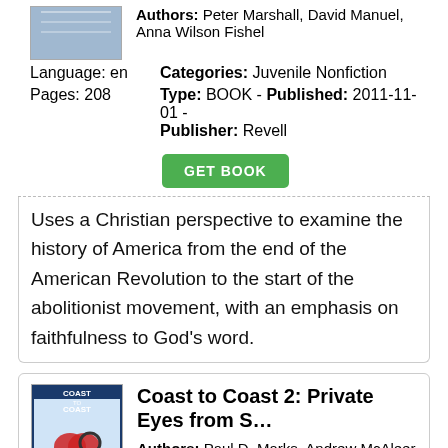Authors: Peter Marshall, David Manuel, Anna Wilson Fishel
Language: en
Pages: 208
Categories: Juvenile Nonfiction
Type: BOOK - Published: 2011-11-01 - Publisher: Revell
GET BOOK
Uses a Christian perspective to examine the history of America from the end of the American Revolution to the start of the abolitionist movement, with an emphasis on faithfulness to God's word.
[Figure (photo): Book cover thumbnail for Coast to Coast 2: Private Eyes from Sea to Shining Sea]
Coast to Coast 2: Private Eyes from S…
Authors: Paul D. Marks, Andrew McAleer
Language: en
Pages: 370
Categories: Fiction